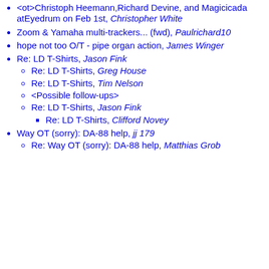<ot>Christoph Heemann,Richard Devine, and Magicicada atEyedrum on Feb 1st, Christopher White
Zoom & Yamaha multi-trackers... (fwd), Paulrichard10
hope not too O/T - pipe organ action, James Winger
Re: LD T-Shirts, Jason Fink
Re: LD T-Shirts, Greg House
Re: LD T-Shirts, Tim Nelson
<Possible follow-ups>
Re: LD T-Shirts, Jason Fink
Re: LD T-Shirts, Clifford Novey
Way OT (sorry): DA-88 help, jj 179
Re: Way OT (sorry): DA-88 help, Matthias Grob